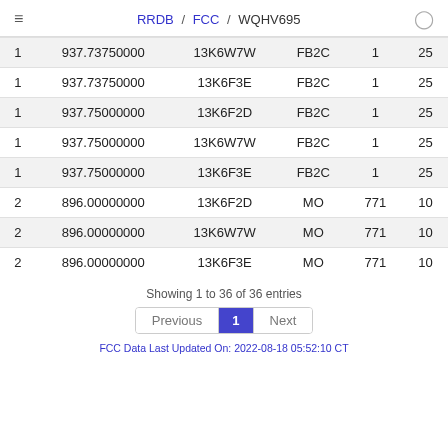≡   RRDB / FCC / WQHV695
|  |  |  |  |  |  |
| --- | --- | --- | --- | --- | --- |
| 1 | 937.73750000 | 13K6W7W | FB2C | 1 | 25 |
| 1 | 937.73750000 | 13K6F3E | FB2C | 1 | 25 |
| 1 | 937.75000000 | 13K6F2D | FB2C | 1 | 25 |
| 1 | 937.75000000 | 13K6W7W | FB2C | 1 | 25 |
| 1 | 937.75000000 | 13K6F3E | FB2C | 1 | 25 |
| 2 | 896.00000000 | 13K6F2D | MO | 771 | 10 |
| 2 | 896.00000000 | 13K6W7W | MO | 771 | 10 |
| 2 | 896.00000000 | 13K6F3E | MO | 771 | 10 |
Showing 1 to 36 of 36 entries
FCC Data Last Updated On: 2022-08-18 05:52:10 CT